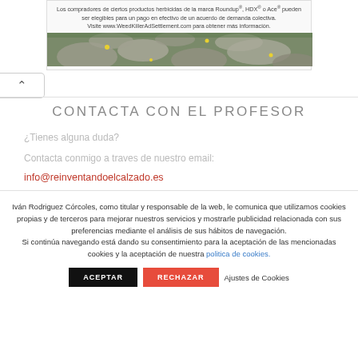[Figure (other): Advertisement banner for WeedKillerAdSettlement.com with text about Roundup, HDX, Ace herbicide products and a photo of stone path with yellow flowers]
∧
CONTACTA CON EL PROFESOR
¿Tienes alguna duda?
Contacta conmigo a traves de nuestro email:
info@reinventandoelcalzado.es
Iván Rodriguez Córcoles, como titular y responsable de la web, le comunica que utilizamos cookies propias y de terceros para mejorar nuestros servicios y mostrarle publicidad relacionada con sus preferencias mediante el análisis de sus hábitos de navegación.
Si continúa navegando está dando su consentimiento para la aceptación de las mencionadas cookies y la aceptación de nuestra politica de cookies.
ACEPTAR   RECHAZAR   Ajustes de Cookies